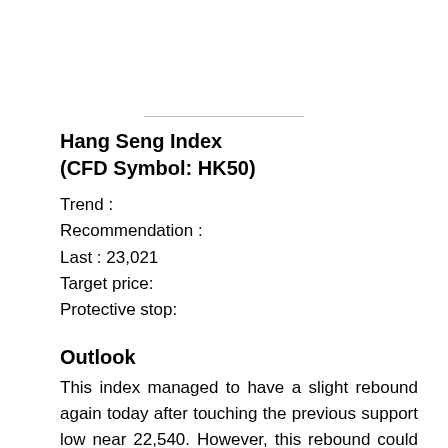Hang Seng Index (CFD Symbol: HK50)
Trend :
Recommendation :
Last : 23,021
Target price:
Protective stop:
Outlook
This index managed to have a slight rebound again today after touching the previous support low near 22,540. However, this rebound could be capped at the lower edge of the consolidation range that ranged from 23,400 to 25,000 since April 20. It has to move inside the consolidation